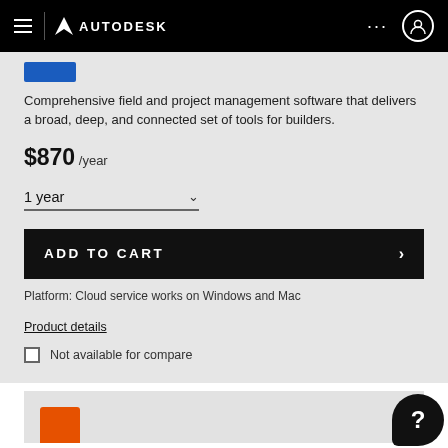AUTODESK
Comprehensive field and project management software that delivers a broad, deep, and connected set of tools for builders.
$870 /year
1 year
ADD TO CART
Platform: Cloud service works on Windows and Mac
Product details
Not available for compare